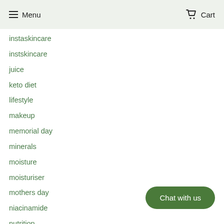Menu  Cart
instaskincare
instskincare
juice
keto diet
lifestyle
makeup
memorial day
minerals
moisture
moisturiser
mothers day
niacinamide
nutrition
peptides
plan
postpartum
recipes
Chat with us